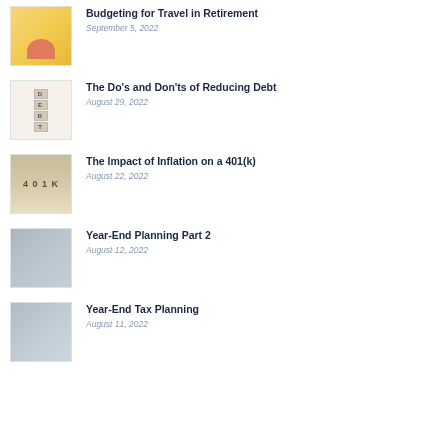[Figure (photo): Thumbnail image with yellow background showing piggy bank or travel-related item]
Budgeting for Travel in Retirement
September 5, 2022
[Figure (photo): Thumbnail image showing hands with DEBT letter cubes]
The Do's and Don'ts of Reducing Debt
August 29, 2022
[Figure (photo): Thumbnail image showing 401K text on tiles]
The Impact of Inflation on a 401(k)
August 22, 2022
[Figure (photo): Thumbnail image with gray cloudy sky or abstract background]
Year-End Planning Part 2
August 12, 2022
[Figure (photo): Thumbnail image with gray cloudy abstract background]
Year-End Tax Planning
August 11, 2022